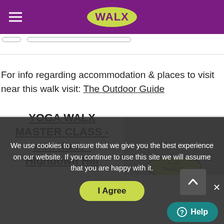WALX
For info regarding accommodation & places to visit near this walk visit: The Outdoor Guide
YOGA WALX MASTER CLASS - with Katie - Highdown Hill
[Figure (screenshot): Partial view of a card image placeholder (greyed out) showing a nordic walx logo at the bottom]
We use cookies to ensure that we give you the best experience on our website. If you continue to use this site we will assume that you are happy with it.
I Agree
Help